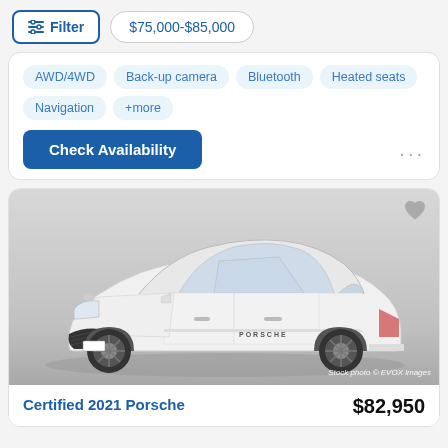Filter
$75,000-$85,000
AWD/4WD
Back-up camera
Bluetooth
Heated seats
Navigation
+more
Check Availability
[Figure (photo): White Porsche Cayenne Coupe SUV, 3/4 front view, Stock photo © EVOX images]
Stock photo © EVOX images
Certified 2021 Porsche
$82,950